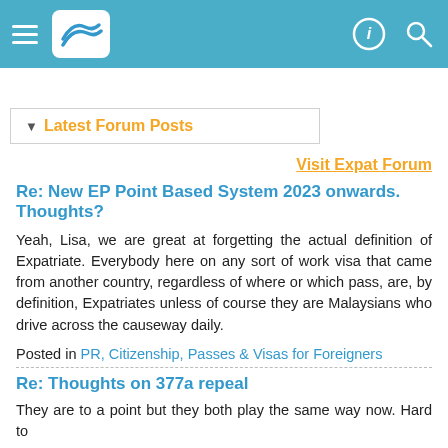Navigation bar with hamburger menu, logo, and icons
▼ Latest Forum Posts
Visit Expat Forum
Re: New EP Point Based System 2023 onwards. Thoughts?
Yeah, Lisa, we are great at forgetting the actual definition of Expatriate. Everybody here on any sort of work visa that came from another country, regardless of where or which pass, are, by definition, Expatriates unless of course they are Malaysians who drive across the causeway daily.
Posted in PR, Citizenship, Passes & Visas for Foreigners
Re: Thoughts on 377a repeal
They are to a point but they both play the same way now. Hard to